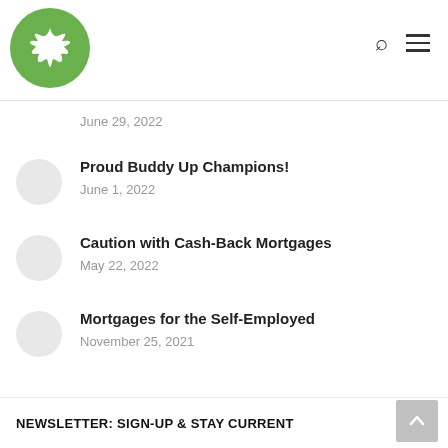Logo and navigation header with search and menu icons
June 29, 2022
Proud Buddy Up Champions!
June 1, 2022
Caution with Cash-Back Mortgages
May 22, 2022
Mortgages for the Self-Employed
November 25, 2021
NEWSLETTER: SIGN-UP & STAY CURRENT